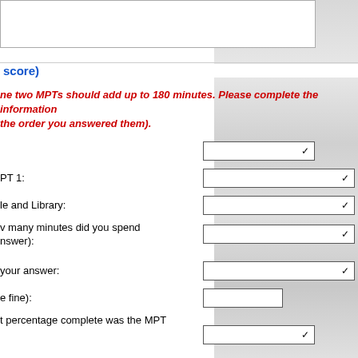score)
ne two MPTs should add up to 180 minutes. Please complete the information the order you answered them).
PT 1:
le and Library:
v many minutes did you spend nswer):
your answer:
e fine):
t percentage complete was the MPT
e):
MPT:
hat score would you assign to